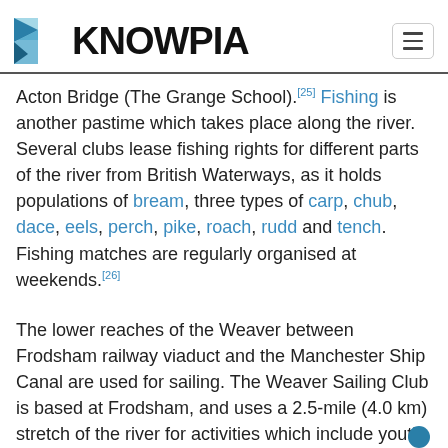KNOWPIA
Acton Bridge (The Grange School).[25] Fishing is another pastime which takes place along the river. Several clubs lease fishing rights for different parts of the river from British Waterways, as it holds populations of bream, three types of carp, chub, dace, eels, perch, pike, roach, rudd and tench. Fishing matches are regularly organised at weekends.[26]
The lower reaches of the Weaver between Frodsham railway viaduct and the Manchester Ship Canal are used for sailing. The Weaver Sailing Club is based at Frodsham, and uses a 2.5-mile (4.0 km) stretch of the river for activities which include youth training and racing of several types of dinghy sailboats. Their training courses are accredited by the Royal Yachting